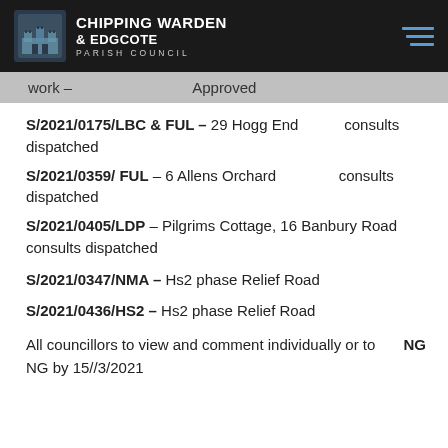Chipping Warden & Edgcote Parish Council
work – Approved
S/2021/0175/LBC & FUL – 29 Hogg End consults dispatched
S/2021/0359/ FUL – 6 Allens Orchard consults dispatched
S/2021/0405/LDP – Pilgrims Cottage, 16 Banbury Road consults dispatched
S/2021/0347/NMA – Hs2 phase Relief Road
S/2021/0436/HS2 – Hs2 phase Relief Road
All councillors to view and comment individually or to NG by 15//3/2021 NG